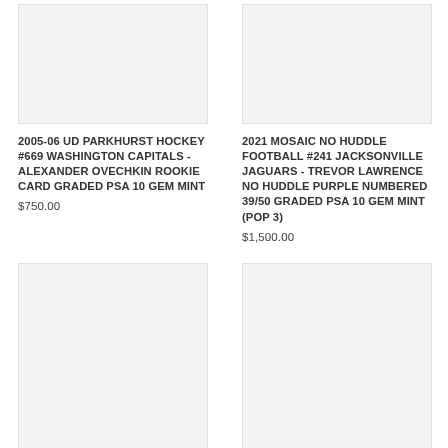[Figure (photo): Product image placeholder for 2005-06 UD Parkhurst Hockey card]
2005-06 UD PARKHURST HOCKEY #669 WASHINGTON CAPITALS - ALEXANDER OVECHKIN ROOKIE CARD GRADED PSA 10 GEM MINT
$750.00
[Figure (photo): Product image placeholder for 2021 Mosaic No Huddle Football card]
2021 MOSAIC NO HUDDLE FOOTBALL #241 JACKSONVILLE JAGUARS - TREVOR LAWRENCE NO HUDDLE PURPLE NUMBERED 39/50 GRADED PSA 10 GEM MINT (POP 3)
$1,500.00
[Figure (photo): Product image placeholder bottom left]
[Figure (photo): Product image placeholder bottom right]